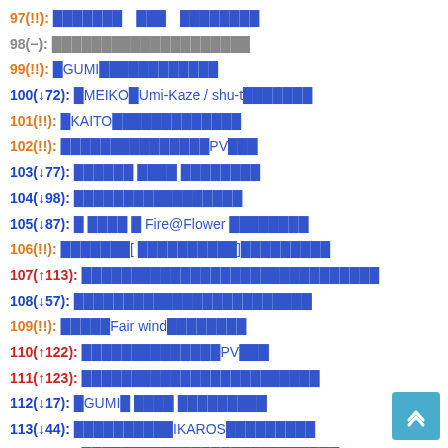97(!!): ███████　███　████████
98(−): ████████████████████
99(!!): █GUMI████████████
100(↓72): █MEIKO█Umi-Kaze / shu-t███████
101(!!): █KAITO█████████████
102(!!): ███████████████PV███
103(↓77): ██████ ████ ████████
104(↓98): █████████████████
105(↓87): █ ████ █ Fire@Flower ████████
106(!!): ███████[ ██████████]█████████
107(↑113): ██████████████████████████████
108(↓57): ████████████████████████
109(!!): █████Fair wind████████
110(↑122): ██████████████PV███
111(↑123): ████████████████████████
112(↓17): █GUMI█ ████ █████████
113(↓44): ██████████IKAROS█████████
114(↓111): ██████████████████████████
115(↑132): ████████████████